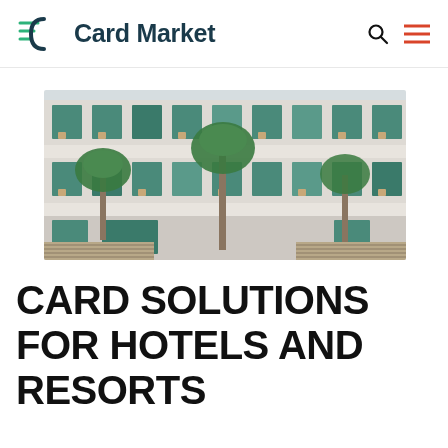Card Market
[Figure (photo): Exterior courtyard view of a multi-story hotel or resort building with large glass windows, balconies with wooden chairs, and palm trees in the center atrium]
CARD SOLUTIONS FOR HOTELS AND RESORTS